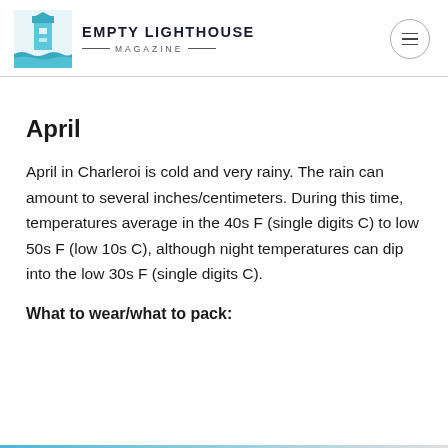EMPTY LIGHTHOUSE MAGAZINE
April
April in Charleroi is cold and very rainy. The rain can amount to several inches/centimeters. During this time, temperatures average in the 40s F (single digits C) to low 50s F (low 10s C), although night temperatures can dip into the low 30s F (single digits C).
What to wear/what to pack: